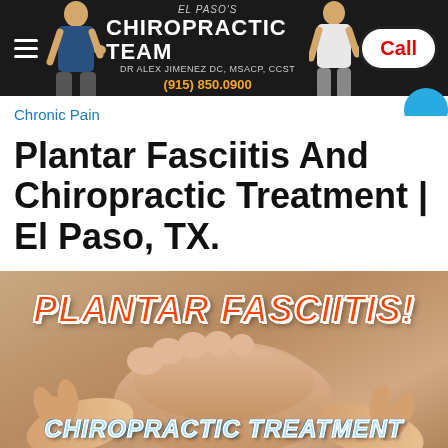El Paso's Chiropractic Team | Dr Alex Jimenez DC, MSACP, CCST | (915) 850.0900
Chronic Pain
Plantar Fasciitis And Chiropractic Treatment | El Paso, TX.
[Figure (photo): Hands performing a foot massage with overlaid bold italic text reading 'PLANTAR FASCIITIS!' in red/orange and 'CHIROPRACTIC TREATMENT CAN HELP!' in light blue, on a warm-toned background.]